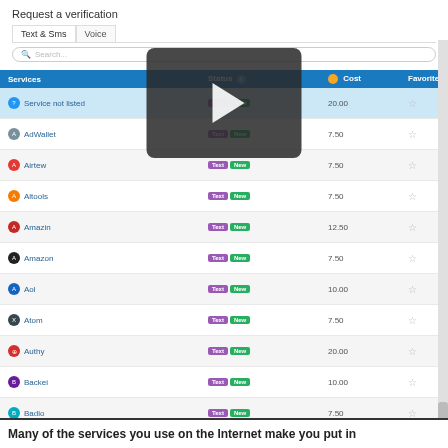Request a verification
[Figure (screenshot): Web UI screenshot showing a verification service selection table with columns: Services, Status, Cost, Favorite. Rows include: Service not listed (20.00), AdWallet (7.50), Airtew (7.50), Altools (7.50), Amazin (12.50), Amazon (7.50), Aol (10.00), Atom (7.50), Authy (20.00), Backei (10.00), Badio (7.50), Binance (10.00), Bitmac (7.50), Branded Surveys (12.50), Buipi (7.50), Burtom (7.50). A video player overlay is shown in the center.]
Many of the services you use on the Internet make you put in